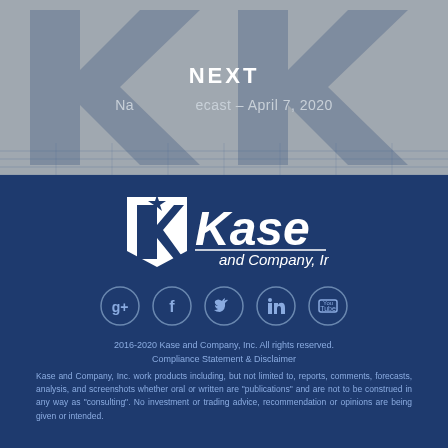NEXT — Na... ecast – April 7, 2020
[Figure (logo): Kase and Company, Inc. logo with stylized K emblem in white on dark blue background]
[Figure (infographic): Social media icons: Google+, Facebook, Twitter, LinkedIn, YouTube — circular outlined icons in muted blue]
2016-2020 Kase and Company, Inc. All rights reserved. Compliance Statement & Disclaimer
Kase and Company, Inc. work products including, but not limited to, reports, comments, forecasts, analysis, and screenshots whether oral or written are "publications" and are not to be construed in any way as "consulting". No investment or trading advice, recommendation or opinions are being given or intended.